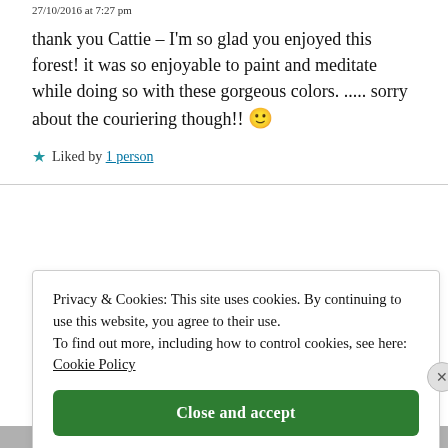27/10/2016 at 7:27 pm
thank you Cattie – I'm so glad you enjoyed this forest! it was so enjoyable to paint and meditate while doing so with these gorgeous colors. ..... sorry about the couriering though!! 🙂
★ Liked by 1 person
Privacy & Cookies: This site uses cookies. By continuing to use this website, you agree to their use. To find out more, including how to control cookies, see here: Cookie Policy
Close and accept